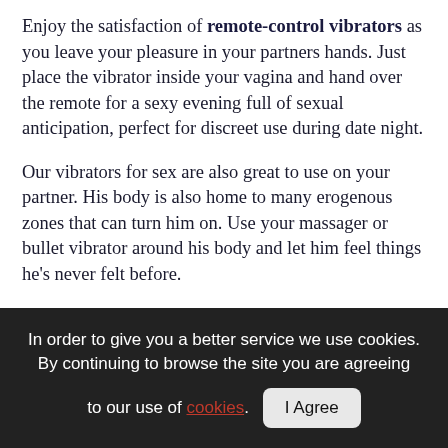Enjoy the satisfaction of remote-control vibrators as you leave your pleasure in your partners hands. Just place the vibrator inside your vagina and hand over the remote for a sexy evening full of sexual anticipation, perfect for discreet use during date night.
Our vibrators for sex are also great to use on your partner. His body is also home to many erogenous zones that can turn him on. Use your massager or bullet vibrator around his body and let him feel things he's never felt before.
Vibrators FAQs
In order to give you a better service we use cookies. By continuing to browse the site you are agreeing to our use of cookies. I Agree